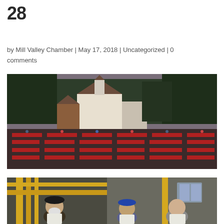28
by Mill Valley Chamber | May 17, 2018 | Uncategorized | 0 comments
[Figure (photo): Aerial/wide-angle view of a large outdoor community dinner event with red-tablecloth tables full of attendees, in front of a white Tudor-style building surrounded by tall trees at dusk.]
[Figure (photo): Indoor photo of several people standing in an industrial kitchen or brewery space with yellow pipes, wearing aprons and hats.]